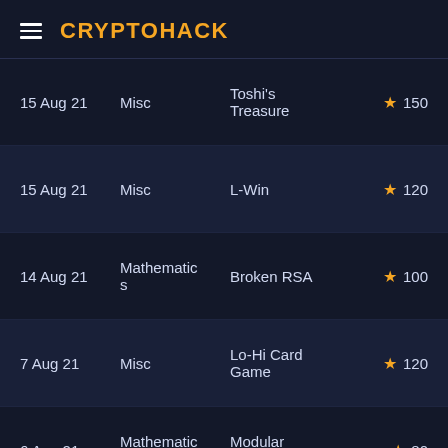CRYPTOHACK
| Date | Category | Name | Score |
| --- | --- | --- | --- |
| 15 Aug 21 | Misc | Toshi's Treasure | ★ 150 |
| 15 Aug 21 | Misc | L-Win | ★ 120 |
| 14 Aug 21 | Mathematics | Broken RSA | ★ 100 |
| 7 Aug 21 | Misc | Lo-Hi Card Game | ★ 120 |
| 6 Aug 21 | Mathematics | Modular Binomials | ★ 80 |
| 5 Aug 21 | Hash Functions | Hash Stuffing | ★ 50 |